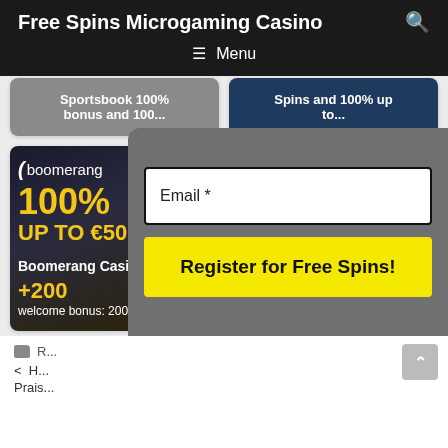Free Spins Microgaming Casino
Menu
Sportsbook 100% bonus and 100...
Spins and 100% up to...
[Figure (photo): Boomerang Casino promotional banner showing 100% UP TO €500 welcome bonus with +200 free spins offer]
Boomerang Casino welcome bonus: 200
Email *
Register for Free Spins!
< H... ns to
Prais...